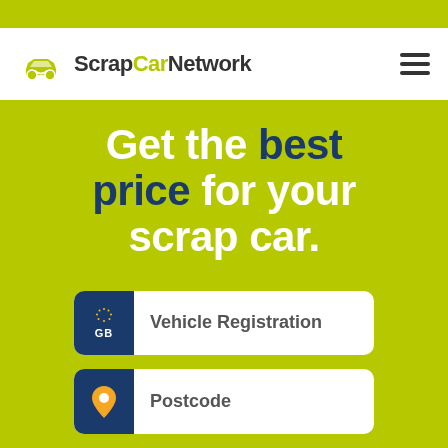[Figure (logo): ScrapCarNetwork logo with green car icon and text 'ScrapCarNetwork' where 'Car' is in green]
Get the best price for your scrap car.
Vehicle Registration
Postcode